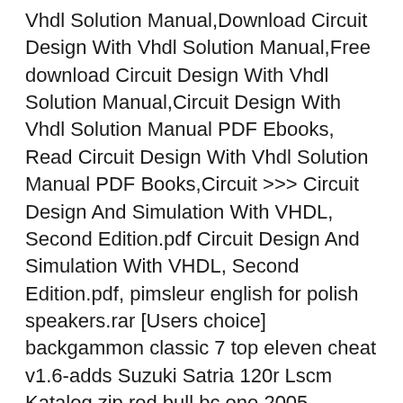Vhdl Solution Manual,Download Circuit Design With Vhdl Solution Manual,Free download Circuit Design With Vhdl Solution Manual,Circuit Design With Vhdl Solution Manual PDF Ebooks, Read Circuit Design With Vhdl Solution Manual PDF Books,Circuit >>> Circuit Design And Simulation With VHDL, Second Edition.pdf Circuit Design And Simulation With VHDL, Second Edition.pdf, pimsleur english for polish speakers.rar [Users choice] backgammon classic 7 top eleven cheat v1.6-adds Suzuki Satria 120r Lscm Katalog.zip red bull bc one 2005 soundtrack.rar Virtual guitarist 2 download torrent incl